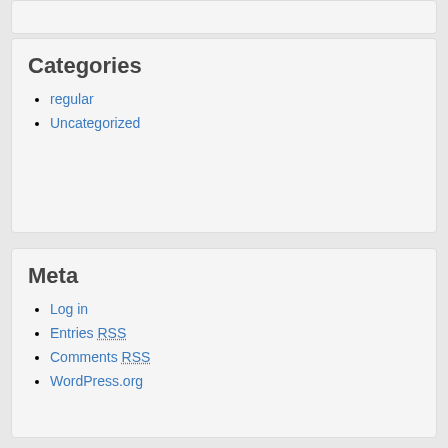Categories
regular
Uncategorized
Meta
Log in
Entries RSS
Comments RSS
WordPress.org